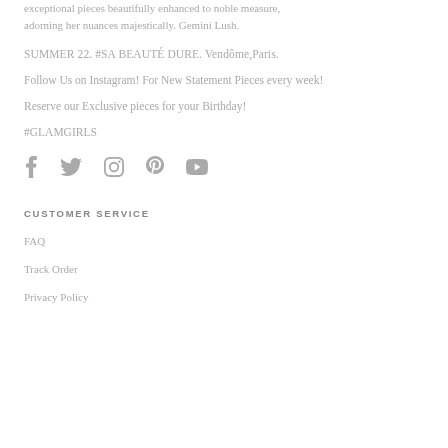exceptional pieces beautifully enhanced to noble measure, adorning her nuances majestically. Gemini Lush.
SUMMER 22. #SA BEAUTÉ DURE. Vendôme,Paris.
Follow Us on Instagram! For New Statement Pieces every week!
Reserve our Exclusive pieces for your Birthday!
#GLAMGIRLS
[Figure (infographic): Social media icons: Facebook, Twitter, Instagram, Pinterest, YouTube]
CUSTOMER SERVICE
FAQ
Track Order
Privacy Policy